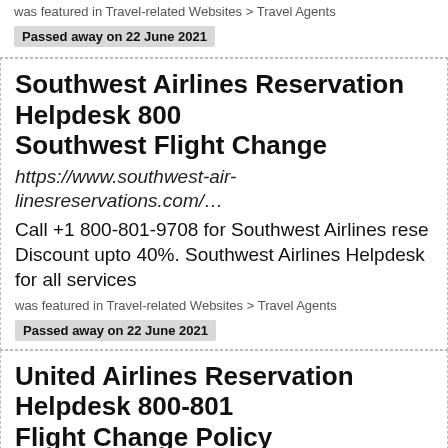was featured in Travel-related Websites > Travel Agents
Passed away on 22 June 2021
Southwest Airlines Reservation Helpdesk 800... Southwest Flight Change
https://www.southwest-air-linesreservations.com/...
Call +1 800-801-9708 for Southwest Airlines rese... Discount upto 40%. Southwest Airlines Helpdesk for all services
was featured in Travel-related Websites > Travel Agents
Passed away on 22 June 2021
United Airlines Reservation Helpdesk 800-801... Flight Change Policy
https://www.unitedair-lines-reservation.com/
Call +1 800-801-9708 for United Airlines reserva...